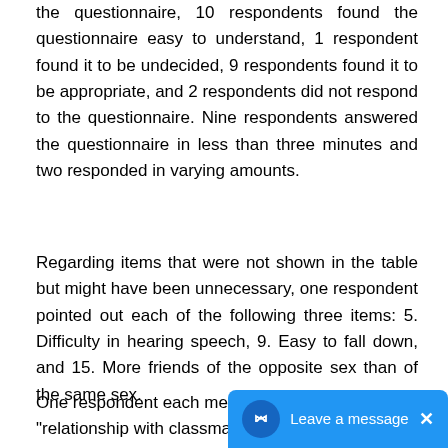the questionnaire, 10 respondents found the questionnaire easy to understand, 1 respondent found it to be undecided, 9 respondents found it to be appropriate, and 2 respondents did not respond to the questionnaire. Nine respondents answered the questionnaire in less than three minutes and two responded in varying amounts.
Regarding items that were not shown in the table but might have been unnecessary, one respondent pointed out each of the following three items: 5. Difficulty in hearing speech, 9. Easy to fall down, and 15. More friends of the opposite sex than of the same sex.
One respondent each mentioned "proble... "relationship with classmate...